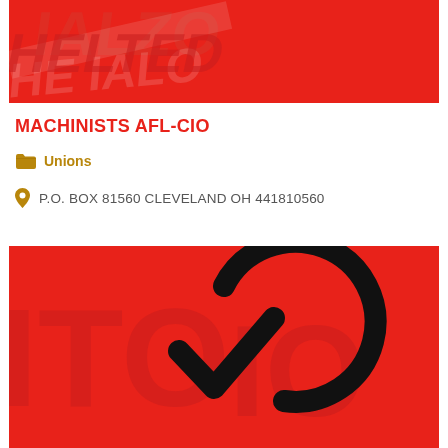[Figure (photo): Red background banner image with faint white text/logo overlay for Machinists AFL-CIO union]
MACHINISTS AFL-CIO
Unions
P.O. BOX 81560 CLEVELAND OH 441810560
[Figure (illustration): Red background image with a large black circular checkmark/verified icon centered, with faint watermark text in background]